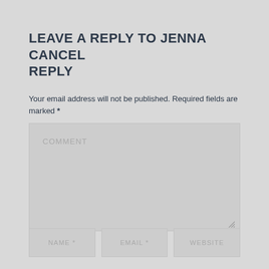LEAVE A REPLY TO JENNA CANCEL REPLY
Your email address will not be published. Required fields are marked *
[Figure (screenshot): Comment textarea input field with placeholder text 'COMMENT' and resize handle in bottom right corner]
[Figure (screenshot): Three input fields labeled NAME *, EMAIL *, and WEBSITE]